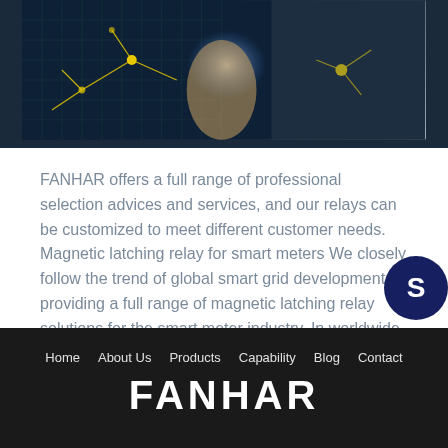[Figure (photo): Hand with glowing neural network / technology circuit connections on dark blue background]
FANHAR offers a full range of professional selection advices and services, and our relays can be customized to meet different customer needs. Magnetic latching relay for smart meters We closely follow the trend of global smart grid development, providing a full range of magnetic latching relay solutions for the smart meter industry. In worldwide smart…
Read More
Home  About Us  Products  Capability  Blog  Contact
FANHAR